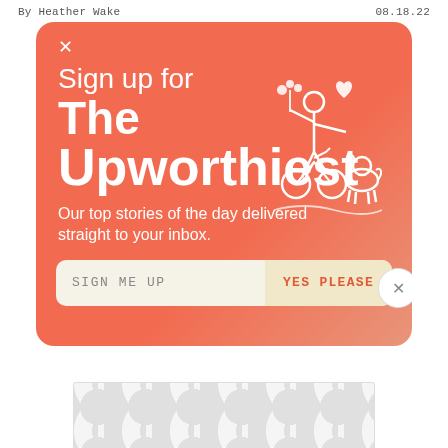By Heather Wake    08.18.22
[Figure (screenshot): Newsletter signup popup card with coral/salmon gradient background. Contains close X button, 'Sign up for The Upworthiest' heading, tagline 'Our top stories of the day delivered straight to your inbox.', an email input bar with 'SIGN ME UP' placeholder and 'YES PLEASE' button, a white illustration of a person on a bicycle holding flowers with a dog, and a close circle button.]
[Figure (other): Ad placeholder with dotted/circle pattern in light gray on white background.]